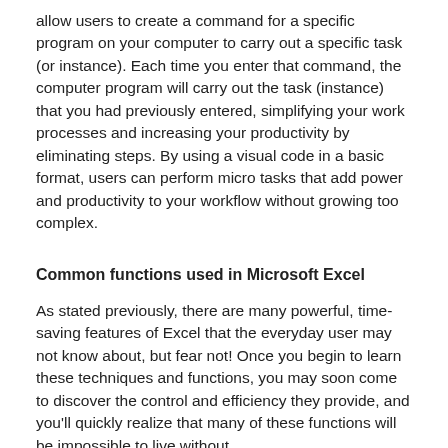allow users to create a command for a specific program on your computer to carry out a specific task (or instance). Each time you enter that command, the computer program will carry out the task (instance) that you had previously entered, simplifying your work processes and increasing your productivity by eliminating steps. By using a visual code in a basic format, users can perform micro tasks that add power and productivity to your workflow without growing too complex.
Common functions used in Microsoft Excel
As stated previously, there are many powerful, time-saving features of Excel that the everyday user may not know about, but fear not! Once you begin to learn these techniques and functions, you may soon come to discover the control and efficiency they provide, and you'll quickly realize that many of these functions will be impossible to live without.
Data - Group and ungroup data and sets, consolidate external sources, remove duplicates, create detailed reports